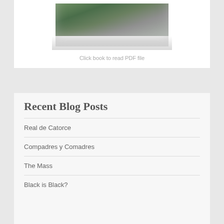[Figure (photo): Partial view of a book or photo with an outdoor scene, framed with white border, partially visible at top of page]
Click book to read PDF file
Recent Blog Posts
Real de Catorce
Compadres y Comadres
The Mass
Black is Black?